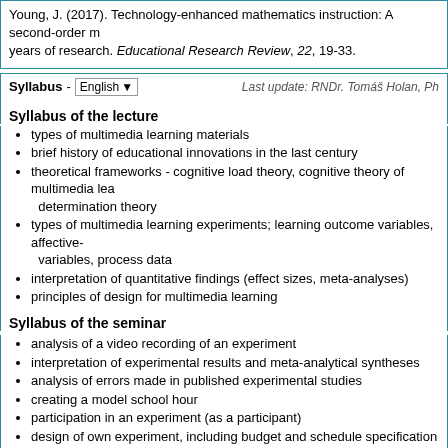Young, J. (2017). Technology-enhanced mathematics instruction: A second-order meta-analysis of 30 years of research. Educational Research Review, 22, 19-33.
Syllabus - English | Last update: RNDr. Tomáš Holan, Ph
Syllabus of the lecture
types of multimedia learning materials
brief history of educational innovations in the last century
theoretical frameworks - cognitive load theory, cognitive theory of multimedia lea... determination theory
types of multimedia learning experiments; learning outcome variables, affective- variables, process data
interpretation of quantitative findings (effect sizes, meta-analyses)
principles of design for multimedia learning
Syllabus of the seminar
analysis of a video recording of an experiment
interpretation of experimental results and meta-analytical syntheses
analysis of errors made in published experimental studies
creating a model school hour
participation in an experiment (as a participant)
design of own experiment, including budget and schedule specification
writing a letter for ethical committee (seeking approval of a project)
contacts
Charles University | Information system of Charles University | http://www.cuni.cz/UKEN-329.html